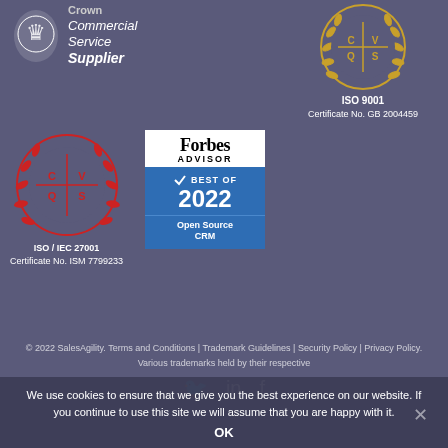[Figure (logo): Crown Commercial Service Supplier badge with royal coat of arms and text]
[Figure (logo): ISO 9001 certification badge with gold laurel wreath. Certificate No. GB 2004459]
[Figure (logo): ISO/IEC 27001 certification badge with red laurel wreath. Certificate No. ISM 7799233]
[Figure (logo): Forbes Advisor Best of 2022 Open Source CRM badge]
© 2022 SalesAgility. Terms and Conditions | Trademark Guidelines | Security Policy | Privacy Policy. Various trademarks held by their respective
We use cookies to ensure that we give you the best experience on our website. If you continue to use this site we will assume that you are happy with it.
OK